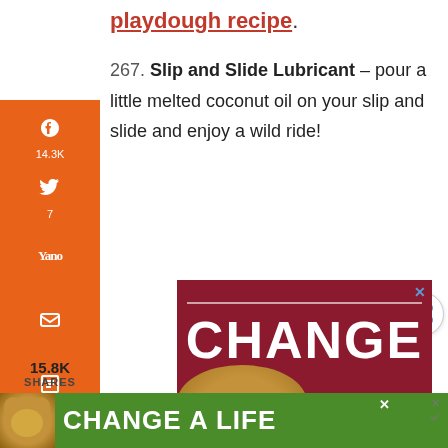playdough recipe.
267. Slip and Slide Lubricant – pour a little melted coconut oil on your slip and slide and enjoy a wild ride!
[Figure (other): Advertisement banner showing 'CHANGE A' text with dog image on dark red background, with close button]
[Figure (other): Bottom advertisement banner: 'CHANGE A LIFE' on green background with dog image]